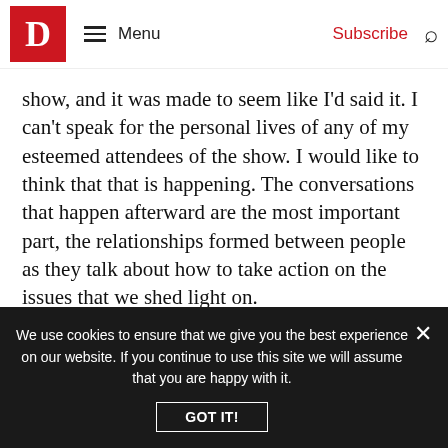D | Menu | Subscribe
show, and it was made to seem like I'd said it. I can't speak for the personal lives of any of my esteemed attendees of the show. I would like to think that that is happening. The conversations that happen afterward are the most important part, the relationships formed between people as they talk about how to take action on the issues that we shed light on.
That sounds like horrible foreplay.
We use cookies to ensure that we give you the best experience on our website. If you continue to use this site we will assume that you are happy with it.
GOT IT!